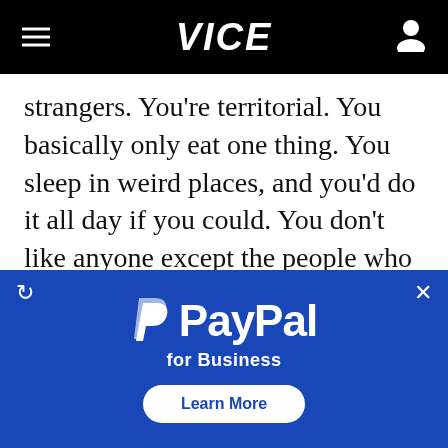VICE
strangers. You're territorial. You basically only eat one thing. You sleep in weird places, and you'd do it all day if you could. You don't like anyone except the people who feed you, and you barely tolerate them.
I like you, I said, nuzzling into her shoulder. Pressing my boobs up against her back.
[Figure (logo): PayPal for Business advertisement banner with PayPal logo, tagline 'for Business', and 'Learn More' button on blue background]